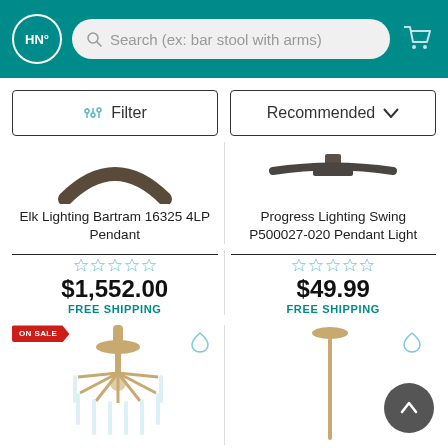HN° / Search (ex: bar stool with arms)
Filter | Recommended
[Figure (photo): Product image of Elk Lighting Bartram 16325 4LP Pendant (partially visible, brown arc shape at top)]
Elk Lighting Bartram 16325 4LP Pendant
$1,552.00
FREE SHIPPING
[Figure (photo): Product image of Progress Lighting Swing P500027-020 Pendant Light showing a dark bronze horizontal bar ceiling mount]
Progress Lighting Swing P500027-020 Pendant Light
$49.99
FREE SHIPPING
[Figure (photo): ON SALE badge product - chandelier with gold brass arms and crystal glass rods in circular arrangement]
[Figure (photo): Pendant light with thin gold rod stem and small round canopy at top, bottom cut off]